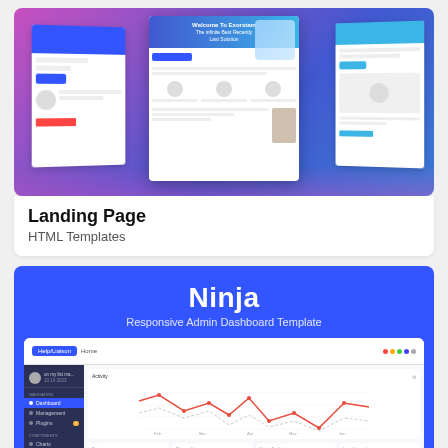[Figure (screenshot): Landing page HTML templates preview showing multiple website mockups with blue and purple gradient backgrounds]
Landing Page
HTML Templates
[Figure (screenshot): Ninja Responsive Admin Dashboard Template preview on blue background showing a dashboard with line chart and stats widgets]